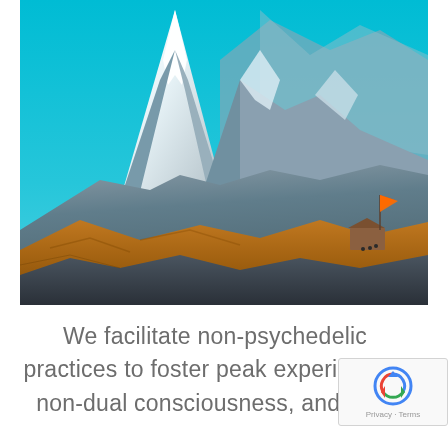[Figure (photo): Photograph of a dramatic snow-capped mountain peak (resembling Matterhorn or Ama Dablam in the Himalayas) with a bright turquoise/teal sky. The lower portion shows rocky brown and golden terrain with a small structure and an orange flag on the right side. Several small figures are visible near the structure.]
We facilitate non-psychedelic practices to foster peak experiences, non-dual consciousness, and non-